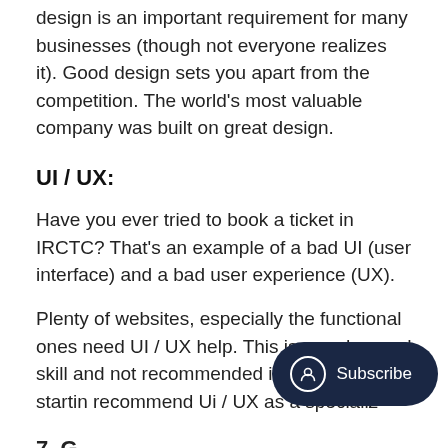design is an important requirement for many businesses (though not everyone realizes it). Good design sets you apart from the competition. The world's most valuable company was built on great design.
UI / UX:
Have you ever tried to book a ticket in IRCTC? That's an example of a bad UI (user interface) and a bad user experience (UX).
Plenty of websites, especially the functional ones need UI / UX help. This is an advanced skill and not recommended if you are just startin recommend Ui / UX as a specializ
7. Gra